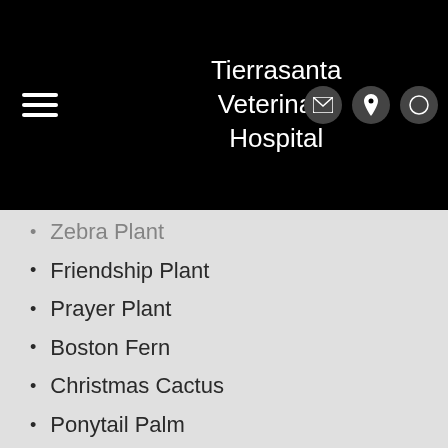Tierrasanta Veterinary Hospital
Zebra Plant
Friendship Plant
Prayer Plant
Boston Fern
Christmas Cactus
Ponytail Palm
Wax Plant
Money Tree
Wandering Jew
Spider Plant
Cast Iron Plant
Gloxinia
Peperomia
Venus Flytrap